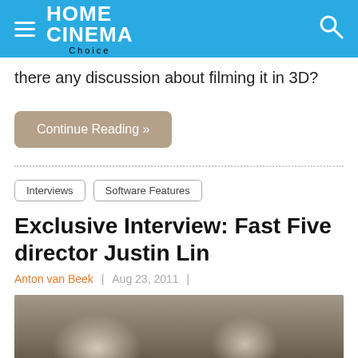HOME CINEMA Choice
there any discussion about filming it in 3D?
Continue Reading »
Interviews
Software Features
Exclusive Interview: Fast Five director Justin Lin
Anton van Beek  |  Aug 23, 2011  |
[Figure (photo): Photograph from the Fast Five interview article showing people outdoors, blurred background with hats visible]